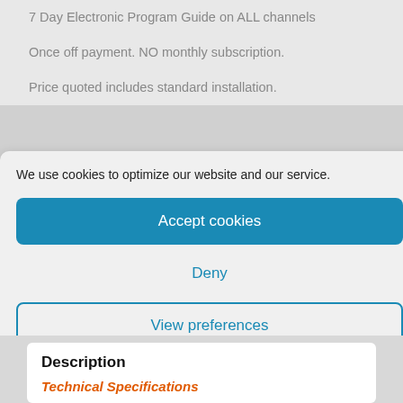7 Day Electronic Program Guide on ALL channels
Once off payment. NO monthly subscription.
Price quoted includes standard installation.
We use cookies to optimize our website and our service.
Accept cookies
Deny
View preferences
Cookie policy   Privacy Policy
Description
Technical Specifications